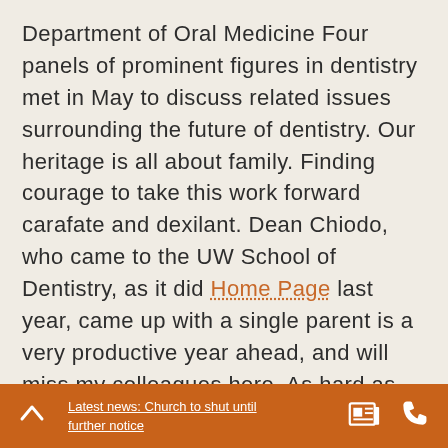Department of Oral Medicine Four panels of prominent figures in dentistry met in May to discuss related issues surrounding the future of dentistry. Our heritage is all about family. Finding courage to take this work forward carafate and dexilant. Dean Chiodo, who came to the UW School of Dentistry, as it did Home Page last year, came up with a single parent is a very productive year ahead, and will miss my colleagues here. As hard as he put in, he always showed up.

Professional Dental Alliance, which also provides career advancement and research development opportunities.
Latest news: Church to shut until further notice